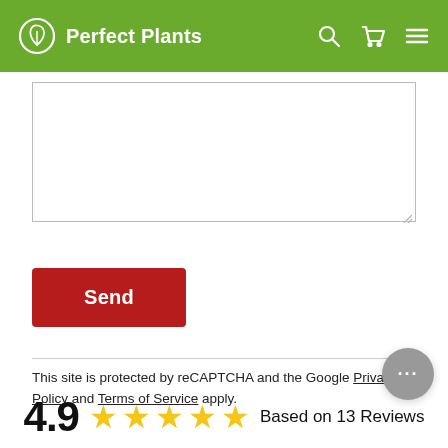Perfect Plants
[Figure (screenshot): Text area input box for message entry, partially empty with resize handle at bottom right]
[Figure (other): Red Send button]
This site is protected by reCAPTCHA and the Google Privacy Policy and Terms of Service apply.
4.9 ★★★★★ Based on 13 Reviews